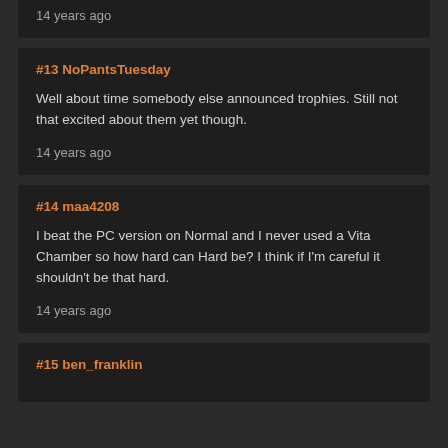14 years ago
#13 NoPantsTuesday
Well about time somebody else announced trophies. Still not that excited about them yet though.
14 years ago
#14 maa4208
I beat the PC version on Normal and I never used a Vita Chamber so how hard can Hard be? I think if I'm careful it shouldn't be that hard.
14 years ago
#15 ben_franklin